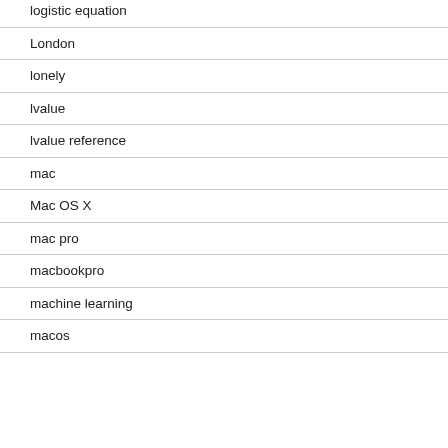logistic equation
London
lonely
lvalue
lvalue reference
mac
Mac OS X
mac pro
macbookpro
machine learning
macos